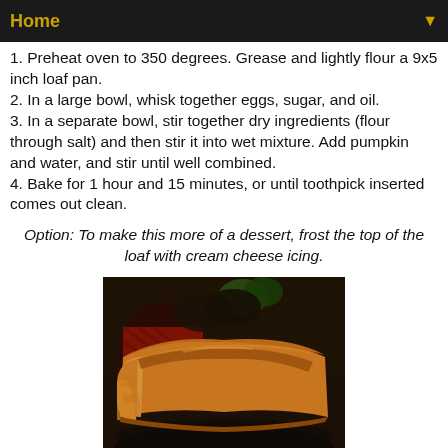Home ▼
1. Preheat oven to 350 degrees. Grease and lightly flour a 9x5 inch loaf pan.
2. In a large bowl, whisk together eggs, sugar, and oil.
3. In a separate bowl, stir together dry ingredients (flour through salt) and then stir it into wet mixture. Add pumpkin and water, and stir until well combined.
4. Bake for 1 hour and 15 minutes, or until toothpick inserted comes out clean.
Option: To make this more of a dessert, frost the top of the loaf with cream cheese icing.
[Figure (photo): Photo of sliced pumpkin bread loaf on a dark plate, showing golden-brown crust and moist interior, with a red decorative item and dark background]